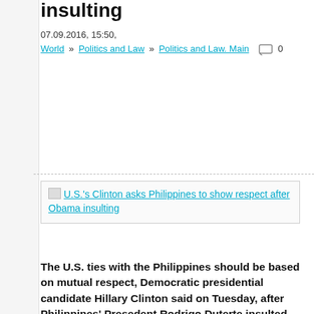insulting
07.09.2016, 15:50,
World » Politics and Law » Politics and Law. Main  0
[Figure (other): Broken image placeholder with link text: U.S.'s Clinton asks Philippines to show respect after Obama insulting]
The U.S. ties with the Philippines should be based on mutual respect, Democratic presidential candidate Hillary Clinton said on Tuesday, after Philippines' Presedent Rodrigo Duterte insulted Obama.
Clinton is sure that Obama did right with canceling the meeting: "When the president of the Philippines insulted our president, it was appropriate in a very low-key way to say: sorry, no meeting."